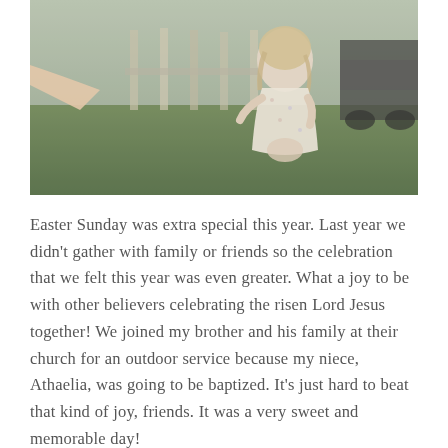[Figure (photo): Outdoor photo of a young girl in a floral dress standing on grass, with another child's arm visible on the left reaching toward her. Wooden fence and parked vehicles in the background.]
Easter Sunday was extra special this year. Last year we didn't gather with family or friends so the celebration that we felt this year was even greater. What a joy to be with other believers celebrating the risen Lord Jesus together! We joined my brother and his family at their church for an outdoor service because my niece, Athaelia, was going to be baptized. It's just hard to beat that kind of joy, friends. It was a very sweet and memorable day!